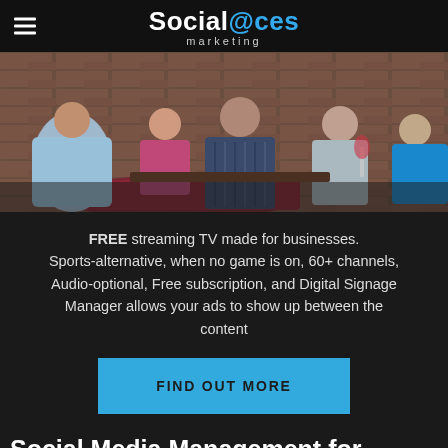Social@ces marketing
[Figure (photo): People sitting at a restaurant bar, seen from behind, with brick wall background]
FREE streaming TV made for businesses. Sports-alternative, when no game is on, 60+ channels, Audio-optional, Free subscription, and Digital Signage Manager allows your ads to show up between the content
FIND OUT MORE
Social Media Management for Business